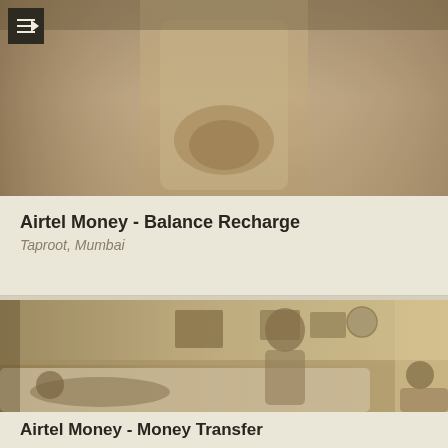[Figure (photo): Sepia-toned photo showing a person in white shirt with hands clasped, top portion of body visible, dark menu button overlay in top-left corner]
Airtel Money - Balance Recharge
Taproot, Mumbai
[Figure (photo): Sepia-toned photo showing a family scene in a living room: a man standing, a child lying on a white couch, and a woman sitting, with framed pictures on the wall and a clock in the background]
Airtel Money - Money Transfer